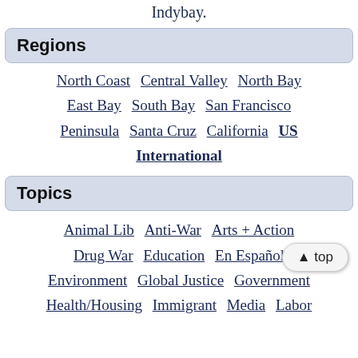Indybay.
Regions
North Coast  Central Valley  North Bay  East Bay  South Bay  San Francisco  Peninsula  Santa Cruz  California  US  International
Topics
Animal Lib  Anti-War  Arts + Action  Drug War  Education  En Español  Environment  Global Justice  Government  Health/Housing  Immigrant  Media  Labor
▲ top